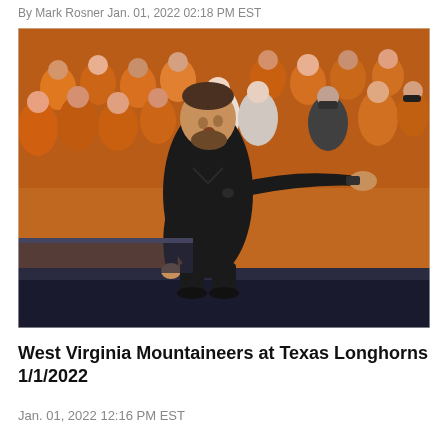By Mark Rosner Jan. 01, 2022 02:18 PM EST
[Figure (photo): A basketball coach in a black polo shirt pointing and directing on the sideline, with a crowd of fans wearing orange in the background at what appears to be a Texas Longhorns basketball game.]
West Virginia Mountaineers at Texas Longhorns 1/1/2022
Jan. 01, 2022 12:16 PM EST